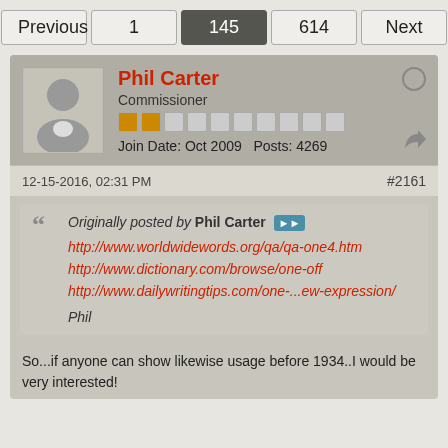Previous  1  145  614  Next
Phil Carter
Commissioner
Join Date: Oct 2009  Posts: 4269
12-15-2016, 02:31 PM  #2161
Originally posted by Phil Carter
http://www.worldwidewords.org/qa/qa-one4.htm
http://www.dictionary.com/browse/one-off
http://www.dailywritingtips.com/one-...ew-expression/
Phil
So...if anyone can show likewise usage before 1934..I would be very interested!